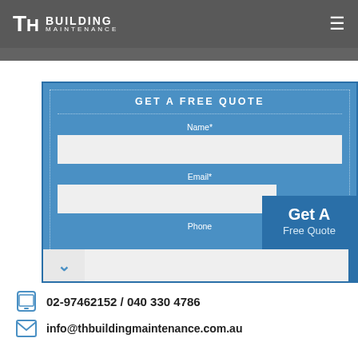TH BUILDING MAINTENANCE
GET A FREE QUOTE
Name*
Email*
Phone
Get A Free Quote
02-97462152  / 040 330 4786
info@thbuildingmaintenance.com.au